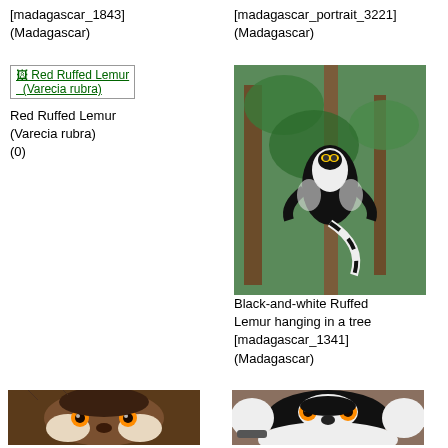[madagascar_1843] (Madagascar)
[madagascar_portrait_3221] (Madagascar)
[Figure (photo): Broken image icon with link: Red Ruffed Lemur (Varecia rubra)]
Red Ruffed Lemur (Varecia rubra) (0)
[Figure (photo): Black-and-white Ruffed Lemur hanging in a tree, madagascar_1341, Madagascar]
Black-and-white Ruffed Lemur hanging in a tree [madagascar_1341] (Madagascar)
[Figure (photo): Close-up frontal photo of a lemur face with orange eyes and dark fur]
[Figure (photo): Close-up frontal photo of a black-and-white ruffed lemur face with orange eyes]